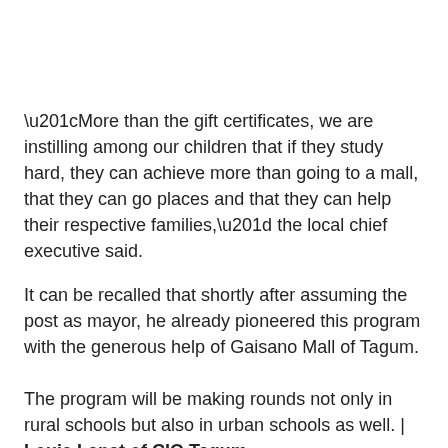“More than the gift certificates, we are instilling among our children that if they study hard, they can achieve more than going to a mall, that they can go places and that they can help their respective families,” the local chief executive said.
It can be recalled that shortly after assuming the post as mayor, he already pioneered this program with the generous help of Gaisano Mall of Tagum.
The program will be making rounds not only in rural schools but also in urban schools as well. | Louie Lapat of CIO Tagum